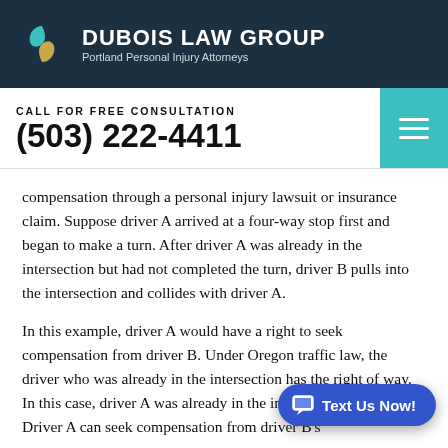DUBOIS LAW GROUP
Portland Personal Injury Attorneys
CALL FOR FREE CONSULTATION
(503) 222-4411
compensation through a personal injury lawsuit or insurance claim. Suppose driver A arrived at a four-way stop first and began to make a turn. After driver A was already in the intersection but had not completed the turn, driver B pulls into the intersection and collides with driver A.
In this example, driver A would have a right to seek compensation from driver B. Under Oregon traffic law, the driver who was already in the intersection has the right of way. In this case, driver A was already in the intersection and h... Driver A can seek compensation from driver B's